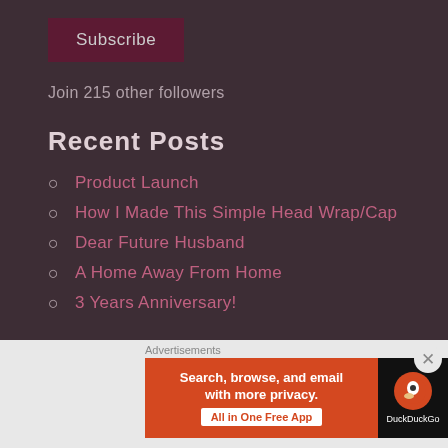Subscribe
Join 215 other followers
Recent Posts
Product Launch
How I Made This Simple Head Wrap/Cap
Dear Future Husband
A Home Away From Home
3 Years Anniversary!
Tags
Advertisements
[Figure (screenshot): DuckDuckGo advertisement banner: Search, browse, and email with more privacy. All in One Free App.]